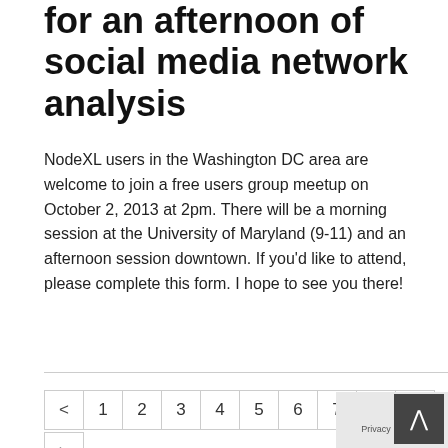for an afternoon of social media network analysis
NodeXL users in the Washington DC area are welcome to join a free users group meetup on October 2, 2013 at 2pm. There will be a morning session at the University of Maryland (9-11) and an afternoon session downtown. If you'd like to attend, please complete this form. I hope to see you there!
Read More
< 1 2 3 4 5 6 7 8 ... >